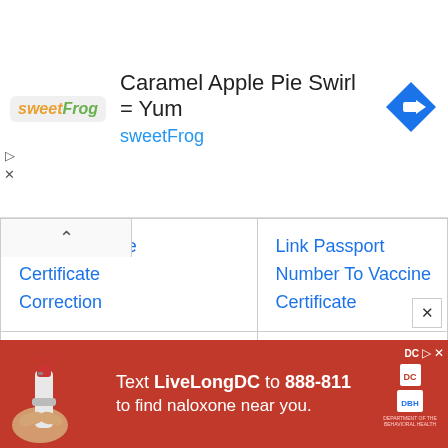[Figure (screenshot): SweetFrog advertisement banner: logo on left, headline 'Caramel Apple Pie Swirl = Yum', subtext 'sweetFrog', navigation icon on right]
| Cowin Vaccine Certificate Correction | Link Passport Number To Vaccine Certificate |
| Cowin Vaccination Certificate Download | Cowin.gov.in Registration Vaccine |
[Figure (screenshot): Advertisement banner: 'Text LiveLongDC to 888-811 to find naloxone near you.' with DC/DBH logos and a hand holding a nasal spray device]